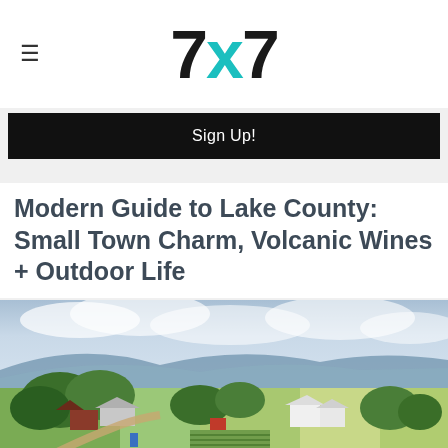7x7
Sign Up!
Modern Guide to Lake County: Small Town Charm, Volcanic Wines + Outdoor Life
[Figure (photo): Aerial drone photograph of a rural farm in Lake County, California, showing green trees, farm buildings including a red barn and white farmhouse, cultivated garden rows, a dirt road, and expansive agricultural fields stretching toward distant mountains under a partly cloudy sky.]